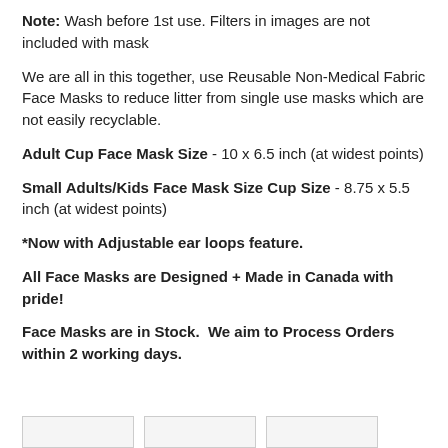Note: Wash before 1st use. Filters in images are not included with mask
We are all in this together, use Reusable Non-Medical Fabric Face Masks to reduce litter from single use masks which are not easily recyclable.
Adult Cup Face Mask Size - 10 x 6.5 inch (at widest points)
Small Adults/Kids Face Mask Size Cup Size - 8.75 x 5.5 inch (at widest points)
*Now with Adjustable ear loops feature.
All Face Masks are Designed + Made in Canada with pride!
Face Masks are in Stock.  We aim to Process Orders within 2 working days.